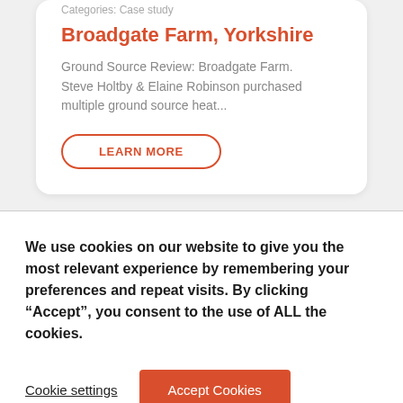Categories: Case study
Broadgate Farm, Yorkshire
Ground Source Review: Broadgate Farm. Steve Holtby & Elaine Robinson purchased multiple ground source heat...
LEARN MORE
We use cookies on our website to give you the most relevant experience by remembering your preferences and repeat visits. By clicking “Accept”, you consent to the use of ALL the cookies.
Cookie settings
Accept Cookies